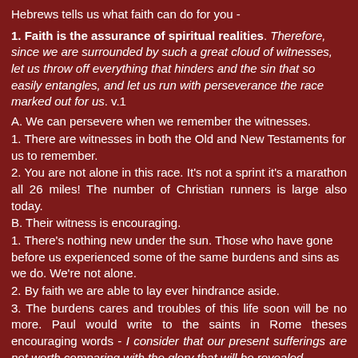Hebrews tells us what faith can do for you -
1. Faith is the assurance of spiritual realities. Therefore, since we are surrounded by such a great cloud of witnesses, let us throw off everything that hinders and the sin that so easily entangles, and let us run with perseverance the race marked out for us. v.1
A. We can persevere when we remember the witnesses.
1. There are witnesses in both the Old and New Testaments for us to remember.
2. You are not alone in this race. It's not a sprint it's a marathon all 26 miles! The number of Christian runners is large also today.
B. Their witness is encouraging.
1. There's nothing new under the sun. Those who have gone before us experienced some of the same burdens and sins as we do. We're not alone.
2. By faith we are able to lay ever hindrance aside.
3. The burdens cares and troubles of this life soon will be no more. Paul would write to the saints in Rome theses encouraging words - I consider that our present sufferings are not worth comparing with the glory that will be revealed